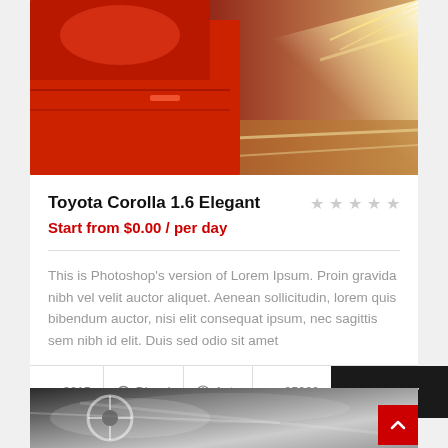[Figure (photo): Red car driving at speed with motion blur and light streaks, top portion of car rental listing card]
Toyota Corolla 1.6 Elegant
Start from $0.00 / per day
This is Photoshop's version of Lorem Ipsum. Proin gravida nibh vel velit auctor aliquet. Aenean sollicitudin, lorem quis bibendum auctor, nisi elit consequat ipsum, nec sagittis sem nibh id elit. Duis sed odio sit amet
2015  Diesel  Auto  25000  RENT IT
[Figure (photo): Black and white photo of car interior/steering wheel with motion blur, bottom of page]